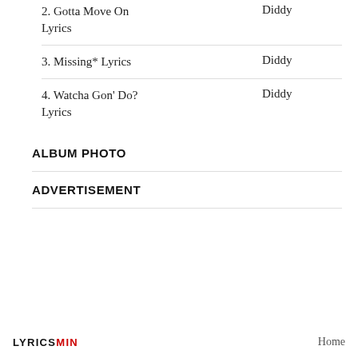2. Gotta Move On Lyrics  Diddy
3. Missing* Lyrics  Diddy
4. Watcha Gon' Do? Lyrics  Diddy
ALBUM PHOTO
ADVERTISEMENT
LYRICSMIN  Home